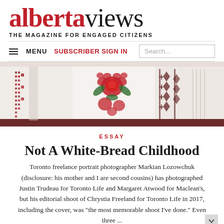alberta views — THE MAGAZINE FOR ENGAGED CITIZENS
[Figure (photo): Close-up photo of people wearing traditional Ukrainian embroidered shirts (vyshyvanky) with red floral and geometric patterns on white fabric.]
ESSAY
Not A White-Bread Childhood
Toronto freelance portrait photographer Markian Lozowchuk (disclosure: his mother and I are second cousins) has photographed Justin Trudeau for Toronto Life and Margaret Atwood for Maclean's, but his editorial shoot of Chrystia Freeland for Toronto Life in 2017, including the cover, was "the most memorable shoot I've done." Even three ...